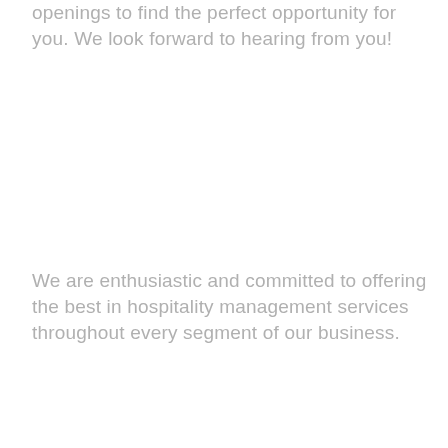openings to find the perfect opportunity for you. We look forward to hearing from you!
We are enthusiastic and committed to offering the best in hospitality management services throughout every segment of our business.